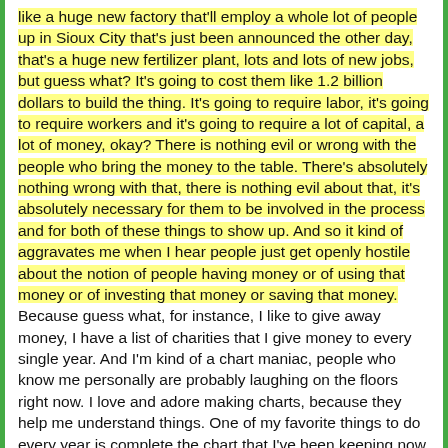like a huge new factory that'll employ a whole lot of people up in Sioux City that's just been announced the other day, that's a huge new fertilizer plant, lots and lots of new jobs, but guess what? It's going to cost them like 1.2 billion dollars to build the thing. It's going to require labor, it's going to require workers and it's going to require a lot of capital, a lot of money, okay? There is nothing evil or wrong with the people who bring the money to the table. There's absolutely nothing wrong with that, there is nothing evil about that, it's absolutely necessary for them to be involved in the process and for both of these things to show up. And so it kind of aggravates me when I hear people just get openly hostile about the notion of people having money or of using that money or of investing that money or saving that money. Because guess what, for instance, I like to give away money, I have a list of charities that I give money to every single year. And I'm kind of a chart maniac, people who know me personally are probably laughing on the floors right now. I love and adore making charts, because they help me understand things. One of my favorite things to do every year is complete the chart that I've been keeping now since I got out of college of every year I note which charities I made a donation to and the only thing I want to see is an unbroken streak, I want to see nothing but nonstop